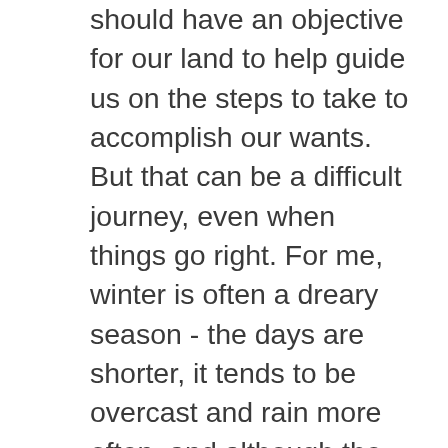should have an objective for our land to help guide us on the steps to take to accomplish our wants. But that can be a difficult journey, even when things go right. For me, winter is often a dreary season - the days are shorter, it tends to be overcast and rain more often, and although the bugs don't bite I just seem to get drained faster during winter. Then it starts to warm up and spring is here... which for me means my allergies are in full swing and now that it's warm enough to enjoy the sunshine, all the bugs are attacking any exposed skin. Spring is also the start for me to "prepare for the year" - whether that's helping other's start their site prep process or educating some on selling their timber - it's the time of year when meetings are in full swing to learn and enjoy fellowship. Maybe you're starting your spring cleaning and organization process and